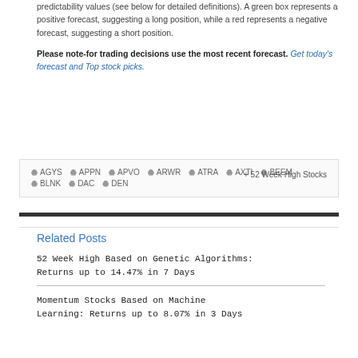predictability values (see below for detailed definitions). A green box represents a positive forecast, suggesting a long position, while a red represents a negative forecast, suggesting a short position.
Please note-for trading decisions use the most recent forecast. Get today's forecast and Top stock picks.
AGYS APPN APVO ARWR ATRA AXTI BEEM BLNK DAC DEN
+ 52 Week High Stocks
Related Posts
52 Week High Based on Genetic Algorithms: Returns up to 14.47% in 7 Days
Momentum Stocks Based on Machine Learning: Returns up to 8.07% in 3 Days